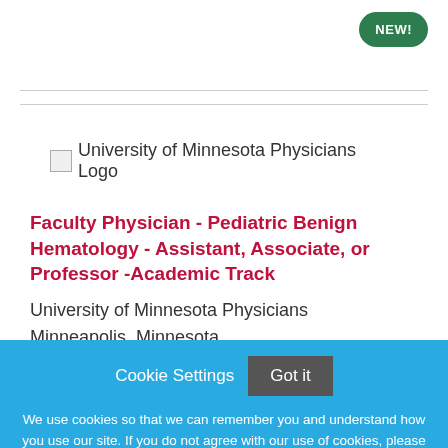[Figure (logo): University of Minnesota Physicians Logo - shown as broken image placeholder with alt text]
Faculty Physician - Pediatric Benign Hematology - Assistant, Associate, or Professor -Academic Track
University of Minnesota Physicians
Minneapolis, Minnesota
Cookie Settings  Got it

We use cookies so that we can remember you and understand how you use our site. If you do not agree with our use of cookies, please change the current settings found in our Cookie Policy. Otherwise, you agree to the use of the cookies as they are currently set.